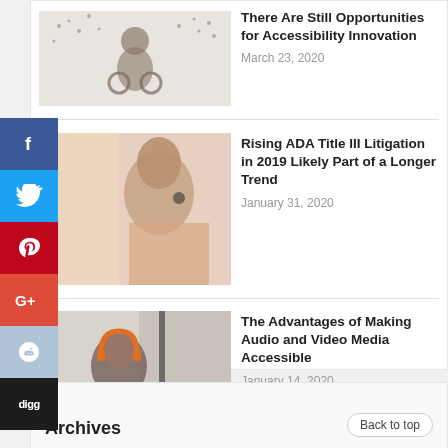[Figure (photo): Thumbnail: wheelchair symbol made of people crowd for accessibility article]
There Are Still Opportunities for Accessibility Innovation
March 23, 2020
[Figure (photo): Thumbnail: woman listening with earphone, side profile]
Rising ADA Title III Litigation in 2019 Likely Part of a Longer Trend
January 31, 2020
[Figure (photo): Thumbnail: woman with orange headphones working on laptop]
The Advantages of Making Audio and Video Media Accessible
January 14, 2020
Archives
Back to top